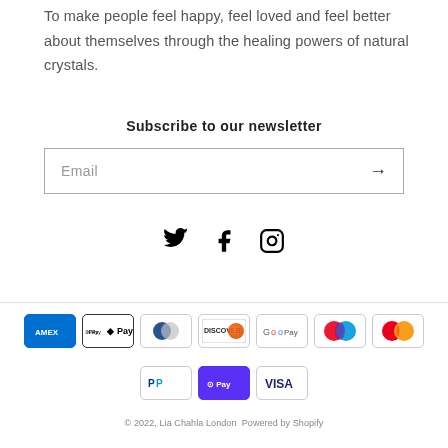To make people feel happy, feel loved and feel better about themselves through the healing powers of natural crystals.
Subscribe to our newsletter
Email
[Figure (other): Social media icons: Twitter, Facebook, Instagram]
[Figure (other): Payment method icons: American Express, Apple Pay, Diners Club, Discover, Google Pay, Maestro, Mastercard, PayPal, Shop Pay, Visa]
© 2022, Lia Chahla London Powered by Shopify